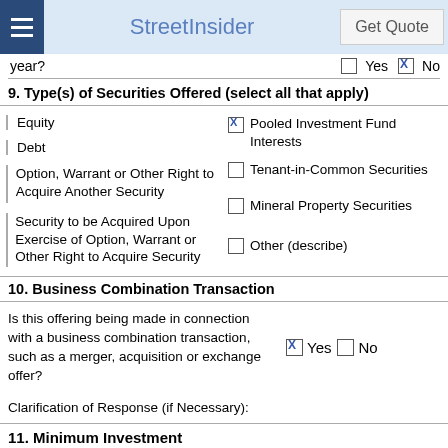StreetInsider | Get Quote
year?   ☐ Yes ☒ No
9. Type(s) of Securities Offered (select all that apply)
Equity
☒ Pooled Investment Fund Interests
Debt
Tenant-in-Common Securities
Option, Warrant or Other Right to Acquire Another Security
Mineral Property Securities
Security to be Acquired Upon Exercise of Option, Warrant or Other Right to Acquire Security
Other (describe)
10. Business Combination Transaction
Is this offering being made in connection with a business combination transaction, such as a merger, acquisition or exchange offer?  ☒ Yes ☐ No
Clarification of Response (if Necessary):
11. Minimum Investment